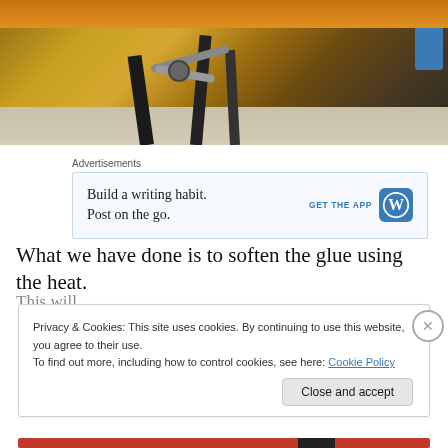[Figure (photo): Close-up photo of workshop equipment legs/frame on a concrete floor, with orange surface visible at top and a blue cylindrical object at right edge]
Advertisements
[Figure (screenshot): WordPress app advertisement: 'Build a writing habit. Post on the go.' with 'GET THE APP' call to action and WordPress logo]
What we have done is to soften the glue using the heat.
This will...
Privacy & Cookies: This site uses cookies. By continuing to use this website, you agree to their use.
To find out more, including how to control cookies, see here: Cookie Policy
Close and accept